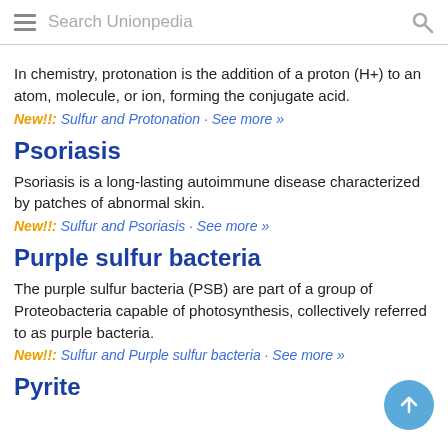Search Unionpedia
In chemistry, protonation is the addition of a proton (H+) to an atom, molecule, or ion, forming the conjugate acid.
New!!: Sulfur and Protonation · See more »
Psoriasis
Psoriasis is a long-lasting autoimmune disease characterized by patches of abnormal skin.
New!!: Sulfur and Psoriasis · See more »
Purple sulfur bacteria
The purple sulfur bacteria (PSB) are part of a group of Proteobacteria capable of photosynthesis, collectively referred to as purple bacteria.
New!!: Sulfur and Purple sulfur bacteria · See more »
Pyrite